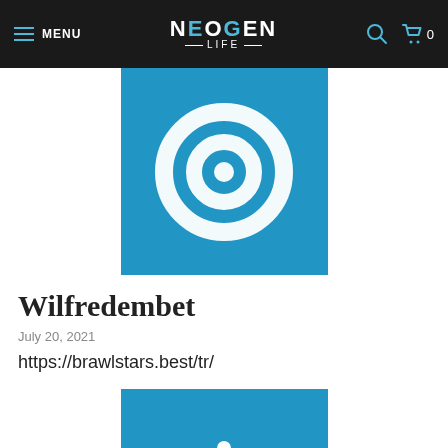MENU | NEOGEN LIFE
[Figure (logo): Blue square with white concentric circle/target logo icon for Neogen Life]
Wilfredembet
July 20, 2021
https://brawlstars.best/tr/
[Figure (logo): Blue square with white power button icon logo]